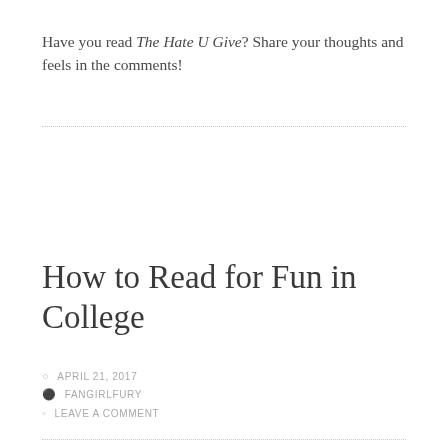Have you read The Hate U Give? Share your thoughts and feels in the comments!
How to Read for Fun in College
APRIL 21, 2017
FANGIRLFURY
LEAVE A COMMENT